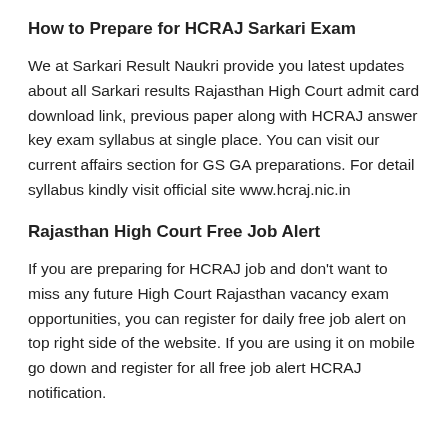How to Prepare for HCRAJ Sarkari Exam
We at Sarkari Result Naukri provide you latest updates about all Sarkari results Rajasthan High Court admit card download link, previous paper along with HCRAJ answer key exam syllabus at single place. You can visit our current affairs section for GS GA preparations. For detail syllabus kindly visit official site www.hcraj.nic.in
Rajasthan High Court Free Job Alert
If you are preparing for HCRAJ job and don't want to miss any future High Court Rajasthan vacancy exam opportunities, you can register for daily free job alert on top right side of the website. If you are using it on mobile go down and register for all free job alert HCRAJ notification.